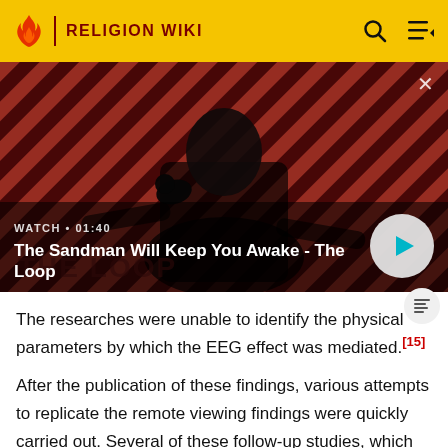RELIGION WIKI
[Figure (screenshot): Video thumbnail showing a person in dark clothing with a raven on shoulder against a red diagonal-striped background. Text overlay reads 'WATCH · 01:40' and 'The Sandman Will Keep You Awake - The Loop' with a play button.]
The researches were unable to identify the physical parameters by which the EEG effect was mediated.[15]
After the publication of these findings, various attempts to replicate the remote viewing findings were quickly carried out. Several of these follow-up studies, which